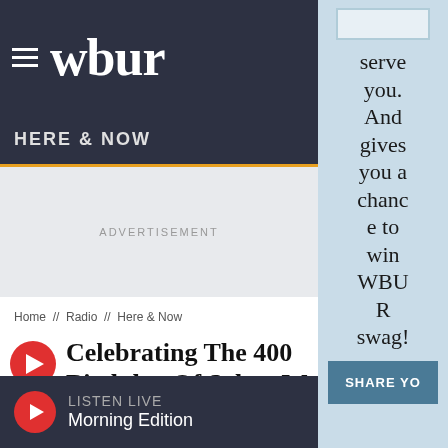wbur
HERE & NOW
ADVERTISEMENT
Home // Radio // Here & Now
Celebrating The 400th Birthday Of Salem Witch Trials Victim Rebecca Nurse
serve you. And gives you a chance to win WBUR swag!
SHARE YO
LISTEN LIVE Morning Edition